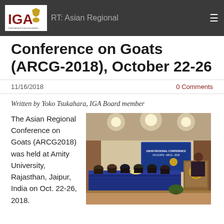IGA | RT: Asian Regional Conference on Goats (ARCG-2018), October 22-26
Conference on Goats (ARCG-2018), October 22-26
11/16/2018
0 Comments
Written by Yoko Tsukahara, IGA Board member
The Asian Regional Conference on Goats (ARCG2018) was held at Amity University, Rajasthan, Jaipur, India on Oct. 22-26, 2018.
[Figure (photo): Panel of speakers seated at a long table with blue skirting at the Asian Regional Conference on Goats (ARCG2018) at Amity University. A speaker stands at a podium on the right with an IGA banner visible in the background.]